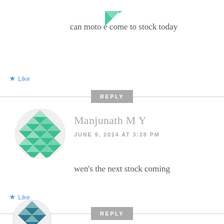[Figure (illustration): Green diamond-pattern avatar icon at the top]
can moto e come to stock today
★ Like
REPLY
[Figure (illustration): Green geometric diamond-pattern circular avatar for Manjunath M Y]
Manjunath M Y
JUNE 9, 2014 AT 3:28 PM
wen's the next stock coming
★ Like
REPLY
[Figure (illustration): Teal/dark diamond-pattern circular avatar at bottom, partially visible]